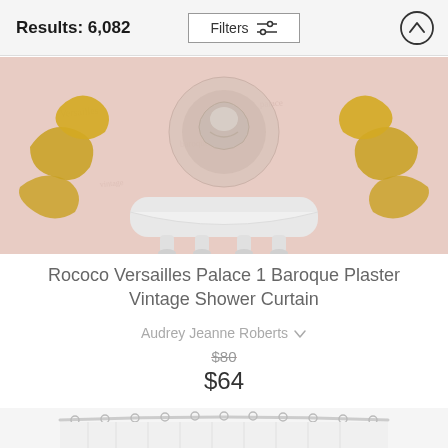Results: 6,082
[Figure (screenshot): Filters button with sliders icon and up-arrow circle button in header bar]
[Figure (photo): Partial product image of a pink baroque-style bathtub with gold ornamental decorations and white claw feet — cropped at top of page]
Rococo Versailles Palace 1 Baroque Plaster Vintage Shower Curtain
Audrey Jeanne Roberts
$80
$64
[Figure (photo): Partial product image of a white shower curtain hanging on a curved curtain rod — cropped at bottom of page]